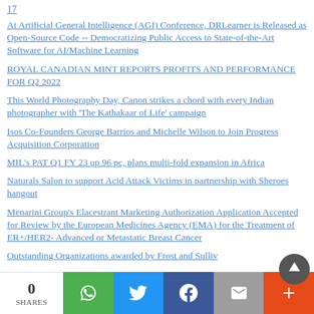17
At Artificial General Intelligence (AGI) Conference, DRLearner is Released as Open-Source Code -- Democratizing Public Access to State-of-the-Art Software for AI/Machine Learning
ROYAL CANADIAN MINT REPORTS PROFITS AND PERFORMANCE FOR Q2 2022
This World Photography Day, Canon strikes a chord with every Indian photographer with 'The Kathakaar of Life' campaign
Isos Co-Founders George Barrios and Michelle Wilson to Join Progress Acquisition Corporation
MIL's PAT Q1 FY 23 up 96 pc, plans multi-fold expansion in Africa
Naturals Salon to support Acid Attack Victims in partnership with Sheroes hangout
Menarini Group's Elacestrant Marketing Authorization Application Accepted for Review by the European Medicines Agency (EMA) for the Treatment of ER+/HER2- Advanced or Metastatic Breast Cancer
Outstanding Organizations awarded by Frost and Sulliv…
0 SHARES